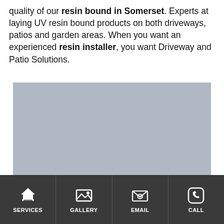quality of our resin bound in Somerset. Experts at laying UV resin bound products on both driveways, patios and garden areas. When you want an experienced resin installer, you want Driveway and Patio Solutions.
[Figure (photo): A placeholder image with a light blue-grey background, representing a photo of a resin bound driveway or patio installation.]
SERVICES | GALLERY | EMAIL | CALL